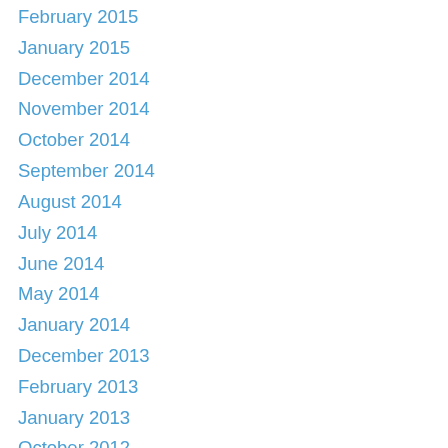February 2015
January 2015
December 2014
November 2014
October 2014
September 2014
August 2014
July 2014
June 2014
May 2014
January 2014
December 2013
February 2013
January 2013
October 2012
September 2012
August 2012
June 2012
May 2012
April 2012